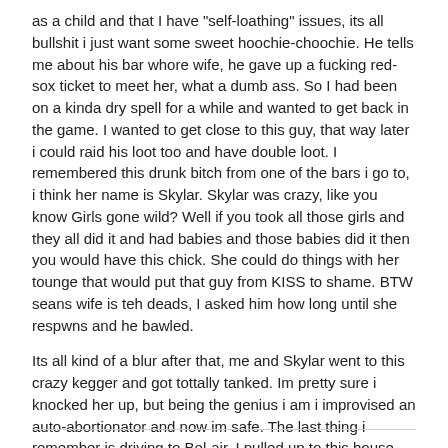as a child and that I have "self-loathing" issues, its all bullshit i just want some sweet hoochie-choochie. He tells me about his bar whore wife, he gave up a fucking red-sox ticket to meet her, what a dumb ass. So I had been on a kinda dry spell for a while and wanted to get back in the game. I wanted to get close to this guy, that way later i could raid his loot too and have double loot. I remembered this drunk bitch from one of the bars i go to, i think her name is Skylar. Skylar was crazy, like you know Girls gone wild? Well if you took all those girls and they all did it and had babies and those babies did it then you would have this chick. She could do things with her tounge that would put that guy from KISS to shame. BTW seans wife is teh deads, I asked him how long until she respwns and he bawled.
Its all kind of a blur after that, me and Skylar went to this crazy kegger and got tottally tanked. Im pretty sure i knocked her up, but being the genius i am i improvised an auto-abortionator and now im safe. The last thing i remember is driving to Bel-air. I pulled up to this house around 7-8 and i yelled at Skylar "YO HOE SEE YOU LATER".